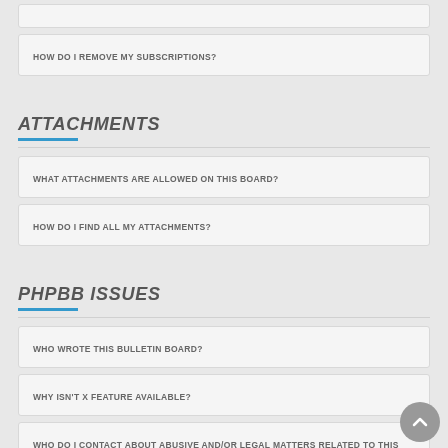HOW DO I REMOVE MY SUBSCRIPTIONS?
ATTACHMENTS
WHAT ATTACHMENTS ARE ALLOWED ON THIS BOARD?
HOW DO I FIND ALL MY ATTACHMENTS?
PHPBB ISSUES
WHO WROTE THIS BULLETIN BOARD?
WHY ISN'T X FEATURE AVAILABLE?
WHO DO I CONTACT ABOUT ABUSIVE AND/OR LEGAL MATTERS RELATED TO THIS BOARD?